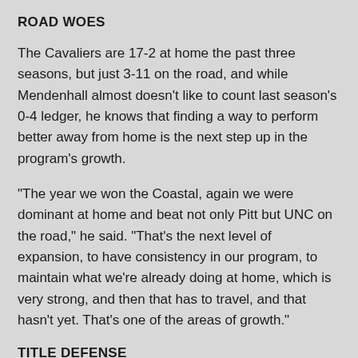ROAD WOES
The Cavaliers are 17-2 at home the past three seasons, but just 3-11 on the road, and while Mendenhall almost doesn't like to count last season's 0-4 ledger, he knows that finding a way to perform better away from home is the next step up in the program's growth.
“The year we won the Coastal, again we were dominant at home and beat not only Pitt but UNC on the road,” he said. “That’s the next level of expansion, to have consistency in our program, to maintain what we’re already doing at home, which is very strong, and then that has to travel, and that hasn’t yet. That’s one of the areas of growth.”
TITLE DEFENSE
Technically, Virginia is the defending Coastal Division